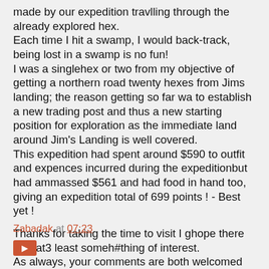made by our expedition travlling through the already explored hex.
Each time I hit a swamp, I would back-track, being lost in a swamp is no fun!
I was a singlehex or two from my objective of getting a northern road twenty hexes from Jims landing; the reason getting so far wa to establish a new trading post and thus a new starting position for exploration as the immediate land around Jim's Landing is well covered.
This expedition had spent around $590 to outfit and expences incurred during the expeditionbut had ammassed $561 and had food in hand too, giving an expedition total of 699 points ! - Best yet !

Thanks for taking the time to visit I ghope there was at3 least someh#thing of interest.
As always, your comments are both welcomed and apprecieted.
Zabadak at 07:23